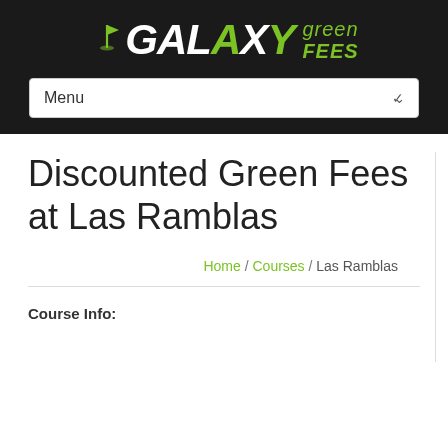[Figure (logo): Galaxy Green Fees logo with golf flag icon, white bold italic GALAXY text and green X, with green fees text in green on dark background]
Menu
Discounted Green Fees at Las Ramblas
Home / Courses / Las Ramblas
Course Info: